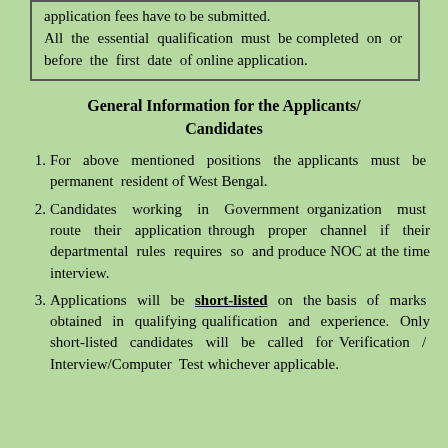application fees have to be submitted. All the essential qualification must be completed on or before the first date of online application.
General Information for the Applicants/ Candidates
For above mentioned positions the applicants must be permanent resident of West Bengal.
Candidates working in Government organization must route their application through proper channel if their departmental rules requires so and produce NOC at the time interview.
Applications will be short-listed on the basis of marks obtained in qualifying qualification and experience. Only short-listed candidates will be called for Verification / Interview/Computer Test whichever applicable.